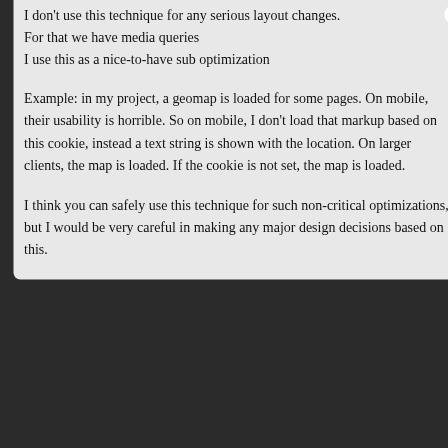I don't use this technique for any serious layout changes.
For that we have media queries
I use this as a nice-to-have sub optimization
Example: in my project, a geomap is loaded for some pages. On mobile, their usability is horrible. So on mobile, I don't load that markup based on this cookie, instead a text string is shown with the location. On larger clients, the map is loaded. If the cookie is not set, the map is loaded.
I think you can safely use this technique for such non-critical optimizations, but I would be very careful in making any major design decisions based on this.
scarfacedeb
# April 29, 2013